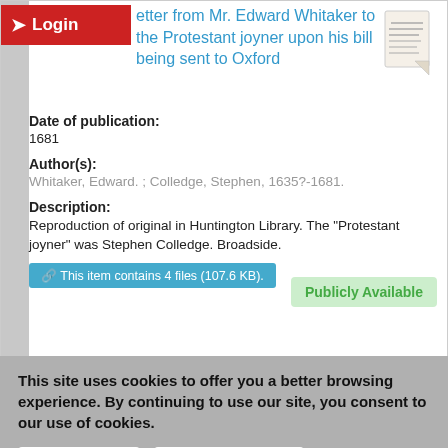Letter from Mr. Edward Whitaker to the Protestant joyner upon his bill being sent to Oxford
Date of publication:
1681
Author(s):
Whitaker, Edward. ; Colledge, Stephen, 1635?-1681.
Description:
Reproduction of original in Huntington Library. The "Protestant joyner" was Stephen Colledge. Broadside.
This item contains 4 files (107.6 KB).
Publicly Available
This site uses cookies to offer you a better browsing experience. By continuing to use our site, you consent to our use of cookies.
I Understand
More Information